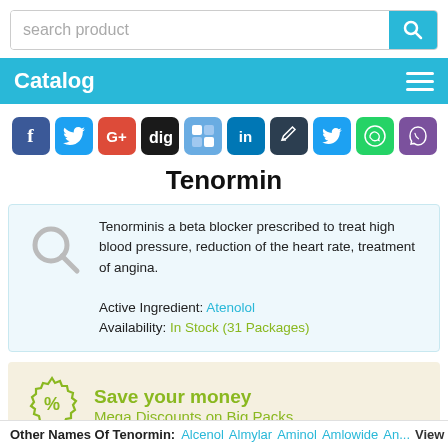search product
Catalog
[Figure (other): Row of social media sharing icons: Facebook, Twitter, Google+, Digg, Delicious, LinkedIn, Edit/Pencil, Twitter2, WhatsApp, Viber]
Tenormin
Tenormin is a beta blocker prescribed to treat high blood pressure, reduction of the heart rate, treatment of angina.
Active Ingredient: Atenolol
Availability: In Stock (31 Packages)
Save your money
Mega Discounts on Big Packs
Other Names Of Tenormin: Alcenol Almylar Aminol Amlowide Ano... View all